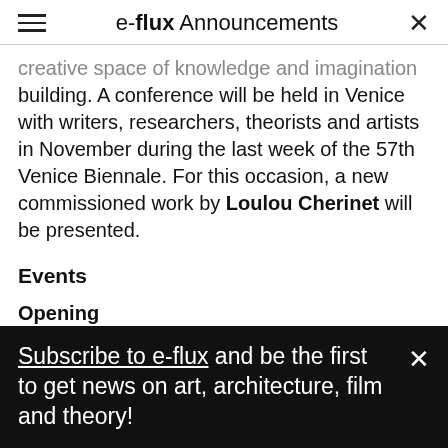e-flux Announcements
creative space of knowledge and imagination building. A conference will be held in Venice with writers, researchers, theorists and artists in November during the last week of the 57th Venice Biennale. For this occasion, a new commissioned work by Loulou Cherinet will be presented.
Events
Opening
May 12, 6pm
Release of Paletten Art Journal, with a Nils
Subscribe to e-flux and be the first to get news on art, architecture, film and theory!